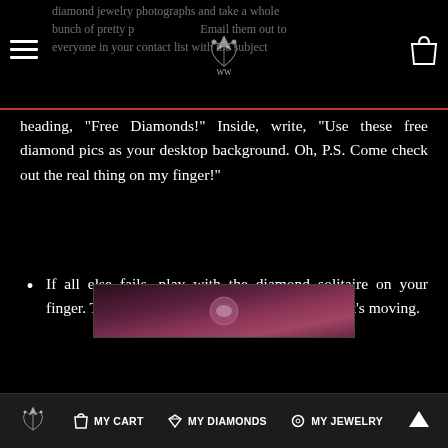diamond jewelry photographs and take a whole bunch of pretty p... Email them out to everyone in your contact list with the subject
heading, “Free Diamonds!” Inside, write, “Use these free diamond pics as your desktop background. Oh, P.S. Come check out the real thing on my finger!”
If all else fails, play with the diamond solitaire on your finger. The eye is naturally drawn to anything that’s moving.
[Figure (logo): WW crown logo divider with horizontal lines]
Recommended For You
[Figure (photo): Product preview image at bottom]
WW logo | MY CART | MY DIAMONDS | MY JEWELRY | Up arrow